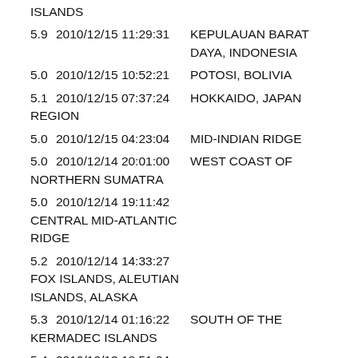ISLANDS
5.9   2010/12/15 11:29:31   KEPULAUAN BARAT DAYA, INDONESIA
5.0   2010/12/15 10:52:21   POTOSI, BOLIVIA
5.1   2010/12/15 07:37:24   HOKKAIDO, JAPAN REGION
5.0   2010/12/15 04:23:04   MID-INDIAN RIDGE
5.0   2010/12/14 20:01:00   WEST COAST OF NORTHERN SUMATRA
5.0   2010/12/14 19:11:42   CENTRAL MID-ATLANTIC RIDGE
5.2   2010/12/14 14:33:27   FOX ISLANDS, ALEUTIAN ISLANDS, ALASKA
5.3   2010/12/14 01:16:22   SOUTH OF THE KERMADEC ISLANDS
5.4   2010/12/13 18:51:04   OFFSHORE LIBERTADOR GENERAL SAN MARTIN, CHILE